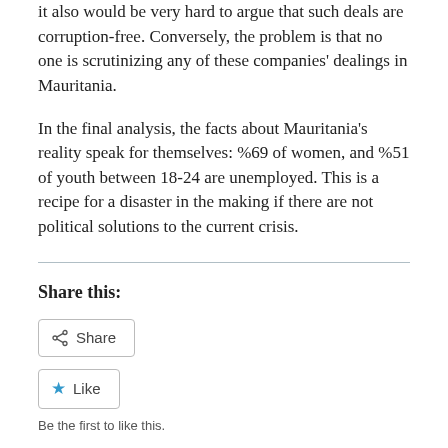it also would be very hard to argue that such deals are corruption-free. Conversely, the problem is that no one is scrutinizing any of these companies' dealings in Mauritania.
In the final analysis, the facts about Mauritania's reality speak for themselves: %69 of women, and %51 of youth between 18-24 are unemployed. This is a recipe for a disaster in the making if there are not political solutions to the current crisis.
Share this:
Share
Like
Be the first to like this.